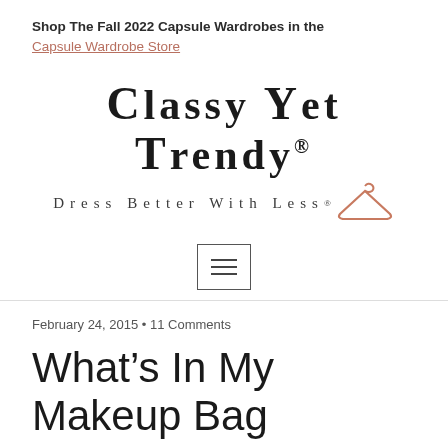Shop The Fall 2022 Capsule Wardrobes in the
Capsule Wardrobe Store
[Figure (logo): Classy Yet Trendy logo with text 'CLASSY YET TRENDY®' and subtitle 'Dress Better With Less®' with a hanger icon]
[Figure (other): Hamburger menu button icon (three horizontal lines inside a rectangle border)]
February 24, 2015 • 11 Comments
What's In My Makeup Bag
UNCATEGORIZED